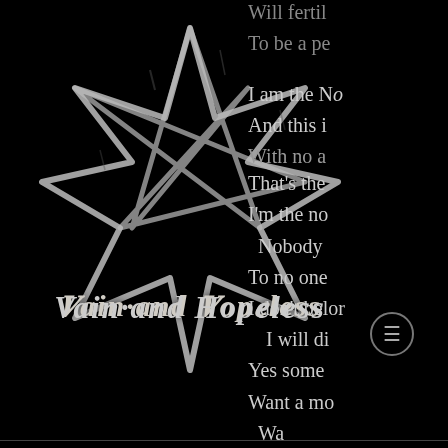[Figure (logo): Vain and Hopeless band logo: a distressed/grunge style seven-pointed star (heptagram) in white/grey on black background, with the text 'Vain and Hopeless' in gothic/blackletter font overlaid on the star.]
Will fertil...
To be a pe...
I am the No...
And this i...
With no a...
That's the...
I'm the no...
Nobody...
To no one...
I don't belor...
I will di...
Yes some...
Want a mo...
Wa...